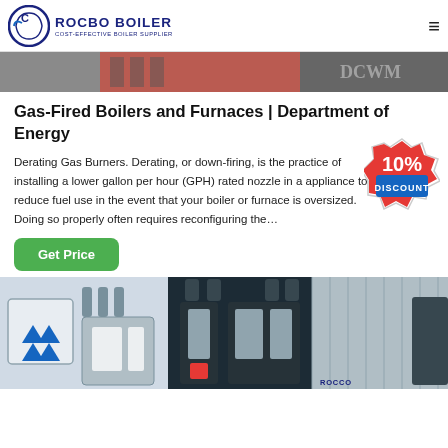[Figure (logo): ROCBO BOILER logo with circular C icon and subtitle COST-EFFECTIVE BOILER SUPPLIER]
[Figure (photo): Partial view of industrial equipment/signage banner at top of page]
Gas-Fired Boilers and Furnaces | Department of Energy
Derating Gas Burners. Derating, or down-firing, is the practice of installing a lower gallon per hour (GPH) rated nozzle in a appliance to reduce fuel use in the event that your boiler or furnace is oversized. Doing so properly often requires reconfiguring the…
[Figure (illustration): 10% DISCOUNT badge/sticker in red and white]
[Figure (photo): Button labeled Get Price in green]
[Figure (photo): Bottom photo showing industrial boiler units and equipment]